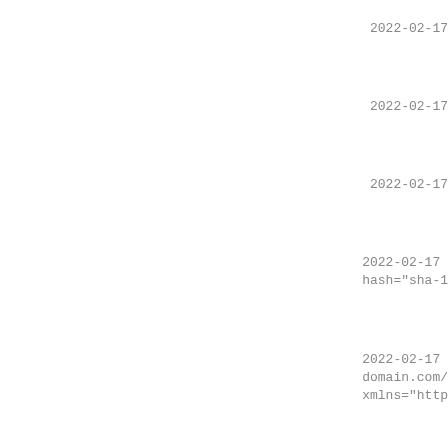2022-02-17
2022-02-17
2022-02-17
2022-02-17
hash="sha-1
2022-02-17
domain.com/
xmlns="http
2022-02-17
hash="sha-1
2022-02-17
domain.com/
xmlns="http
2022-02-17
hash="sha-1
2022-02-17
domain.com/
xmlns="http